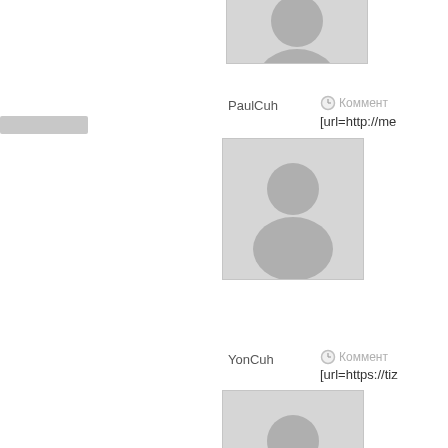[Figure (illustration): Default user avatar placeholder (partial, top)]
PaulCuh
Коммент
[url=http://me
[Figure (illustration): Default user avatar placeholder]
YonCuh
Коммент
[url=https://tiz
[Figure (illustration): Default user avatar placeholder]
JasonCuh
Коммент
[url=http://pre
[Figure (illustration): Default user avatar placeholder]
MarkCuh
Коммент
[url=https://zo
[Figure (illustration): Default user avatar placeholder (partial, bottom)]